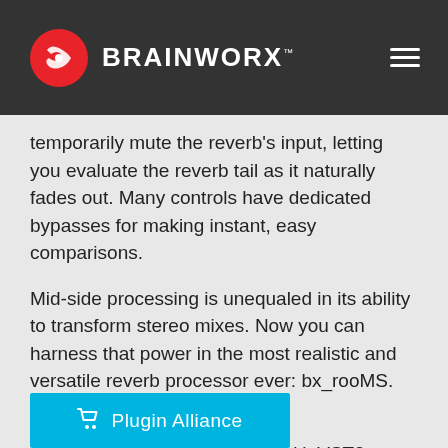BRAINWORX
temporarily mute the reverb's input, letting you evaluate the reverb tail as it naturally fades out. Many controls have dedicated bypasses for making instant, easy comparisons.
Mid-side processing is unequaled in its ability to transform stereo mixes. Now you can harness that power in the most realistic and versatile reverb processor ever: bx_rooMS.
Supported Formats
AAX AudioSuite, AAX Native, AU, VST2, VST3
Try & Buy
Plugin Alliance